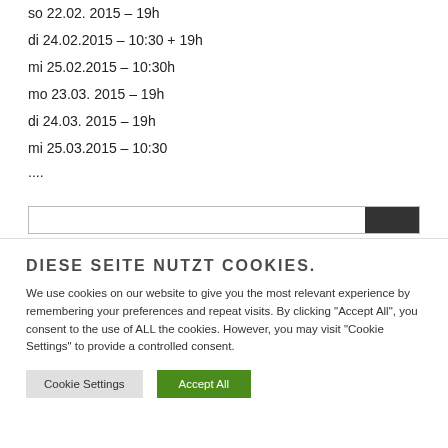so 22.02. 2015 – 19h
di 24.02.2015 – 10:30 + 19h
mi 25.02.2015 – 10:30h
mo 23.03. 2015 – 19h
di 24.03. 2015 – 19h
mi 25.03.2015 – 10:30
....
DIESE SEITE NUTZT COOKIES.
We use cookies on our website to give you the most relevant experience by remembering your preferences and repeat visits. By clicking "Accept All", you consent to the use of ALL the cookies. However, you may visit "Cookie Settings" to provide a controlled consent.
Cookie Settings | Accept All